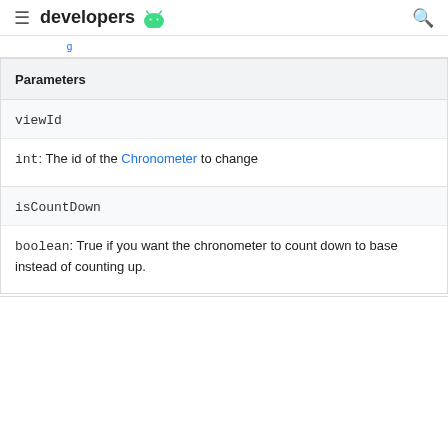developers
Parameters
viewId
int: The id of the Chronometer to change
isCountDown
boolean: True if you want the chronometer to count down to base instead of counting up.